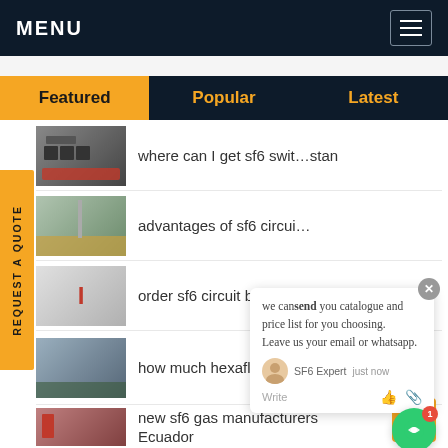MENU
Featured | Popular | Latest
where can I get sf6 switchgear Kazakhstan
advantages of sf6 circuit breaker
order sf6 circuit breaker Malaysia
how much hexafluoride gas for sale Sweden
new sf6 gas manufacturers Ecuador
we can send you catalogue and price list for you choosing. Leave us your email or whatsapp.
SF6 Expert  just now
Write